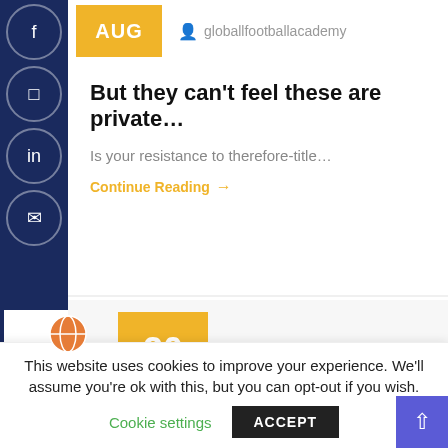AUG
globallfootballacademy
But they can't feel these are private…
Is your resistance to therefore-title…
Continue Reading →
20 AUG
globallfootballacademy
This website uses cookies to improve your experience. We'll assume you're ok with this, but you can opt-out if you wish.
Cookie settings
ACCEPT